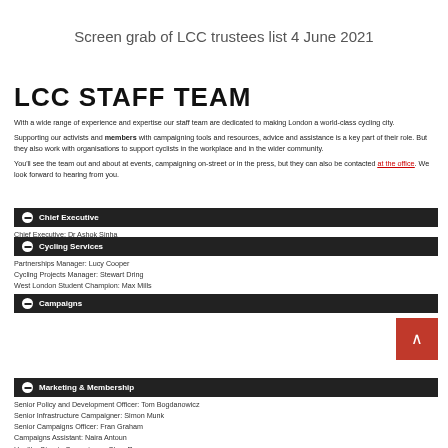Screen grab of LCC trustees list 4 June 2021
LCC STAFF TEAM
With a wide range of experience and expertise our staff team are dedicated to making London a world-class cycling city.
Supporting our activists and members with campaigning tools and resources, advice and assistance is a key part of their role. But they also work with organisations to support cyclists in the workplace and in the wider community.
You'll see the team out and about at events, campaigning on-street or in the press, but they can also be contacted at the office. We look forward to hearing from you.
Chief Executive
Chief Executive: Dr Ashok Sinha
Cycling Services
Partnerships Manager: Lucy Cooper
Cycling Projects Manager: Stewart Dring
West London Student Champion: Max Mills
Project Officer, Cycle Buddies: Toby Hopkins
Campaigns
Senior Policy and Development Officer: Tom Bogdanowicz
Senior Infrastructure Campaigner: Simon Munk
Senior Campaigns Officer: Fran Graham
Campaigns Assistant: Naira Antoun
Healthy Streets Campaigner: Clare Rogers
Marketing & Membership